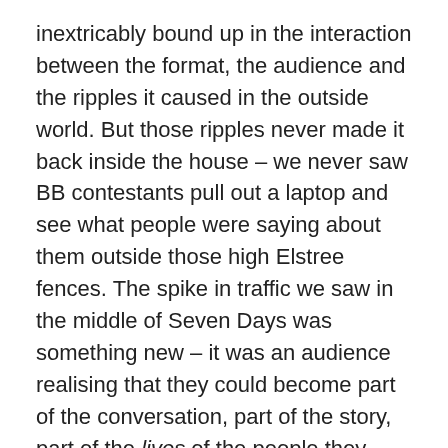inextricably bound up in the interaction between the format, the audience and the ripples it caused in the outside world. But those ripples never made it back inside the house – we never saw BB contestants pull out a laptop and see what people were saying about them outside those high Elstree fences. The spike in traffic we saw in the middle of Seven Days was something new – it was an audience realising that they could become part of the conversation, part of the story, part of the lives of the people they were seeing on television. Cassie and the rest of the Seven Days cast were recognisably people living their own lives –in cafes, living rooms and bars – not the artificial tasks and traumas of Big Brother.
Seven Days has demonstrated that we're living in a new world – a place where our audiences see their own lives